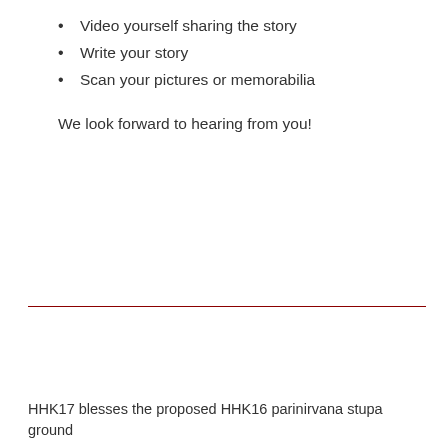Video yourself sharing the story
Write your story
Scan your pictures or memorabilia
We look forward to hearing from you!
HHK17 blesses the proposed HHK16 parinirvana stupa ground